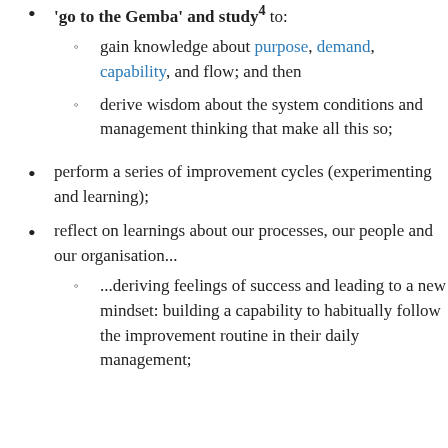'go to the Gemba' and study4 to:
gain knowledge about purpose, demand, capability, and flow; and then
derive wisdom about the system conditions and management thinking that make all this so;
perform a series of improvement cycles (experimenting and learning);
reflect on learnings about our processes, our people and our organisation...
...deriving feelings of success and leading to a new mindset: building a capability to habitually follow the improvement routine in their daily management;